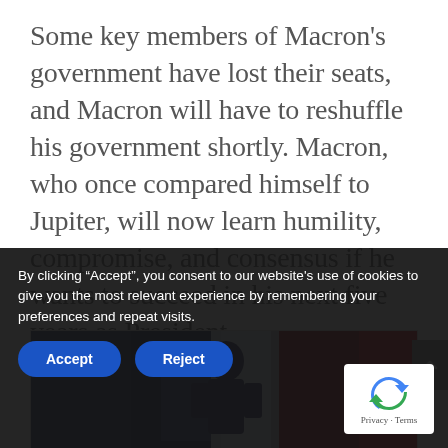Some key members of Macron's government have lost their seats, and Macron will have to reshuffle his government shortly. Macron, who once compared himself to Jupiter, will now learn humility, compromise, and consensus if he wants to succeed in his next five years as President.
[Figure (photo): Photo of a man (Emmanuel Macron) at a voting booth with blue and red curtains/flags in background]
By clicking “Accept”, you consent to our website's use of cookies to give you the most relevant experience by remembering your preferences and repeat visits.